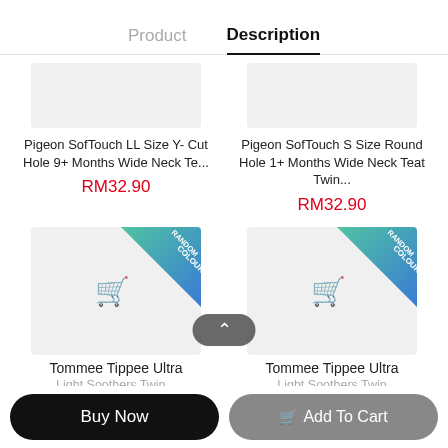Product   Description
[Figure (screenshot): Product image placeholder for Pigeon SofTouch LL Size Y-Cut Hole 9+ Months Wide Neck Teat]
Pigeon SofTouch LL Size Y- Cut Hole 9+ Months Wide Neck Te...
RM32.90
[Figure (screenshot): Product image placeholder for Pigeon SofTouch S Size Round Hole 1+ Months Wide Neck Teat Twin]
Pigeon SofTouch S Size Round Hole 1+ Months Wide Neck Teat Twin...
RM32.90
[Figure (screenshot): Product image with RANDOM COLOUR badge and cart icon for Tommee Tippee Ultra Light Soothers Twin Pack]
[Figure (screenshot): Product image with RANDOM COLOUR badge and cart icon for Tommee Tippee Ultra Light Soothers Twin Pack]
Tommee Tippee Ultra Light Soothers Twin...
Tommee Tippee Ultra Light Soothers Twin Pack (s)
Buy Now
Add To Cart